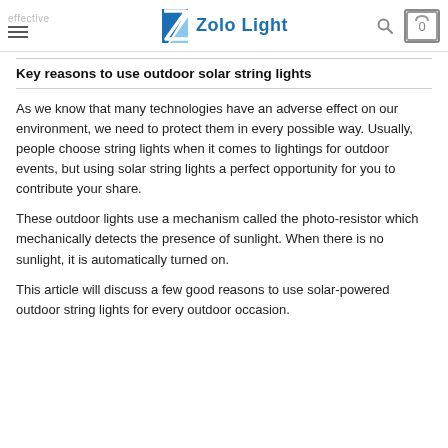effective | Zolo Light | search | cart 0
Key reasons to use outdoor solar string lights
As we know that many technologies have an adverse effect on our environment, we need to protect them in every possible way. Usually, people choose string lights when it comes to lightings for outdoor events, but using solar string lights a perfect opportunity for you to contribute your share.
These outdoor lights use a mechanism called the photo-resistor which mechanically detects the presence of sunlight. When there is no sunlight, it is automatically turned on.
This article will discuss a few good reasons to use solar-powered outdoor string lights for every outdoor occasion.